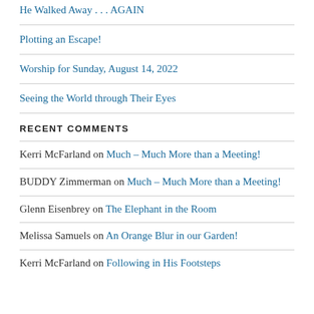He Walked Away . . . AGAIN
Plotting an Escape!
Worship for Sunday, August 14, 2022
Seeing the World through Their Eyes
RECENT COMMENTS
Kerri McFarland on Much – Much More than a Meeting!
BUDDY Zimmerman on Much – Much More than a Meeting!
Glenn Eisenbrey on The Elephant in the Room
Melissa Samuels on An Orange Blur in our Garden!
Kerri McFarland on Following in His Footsteps